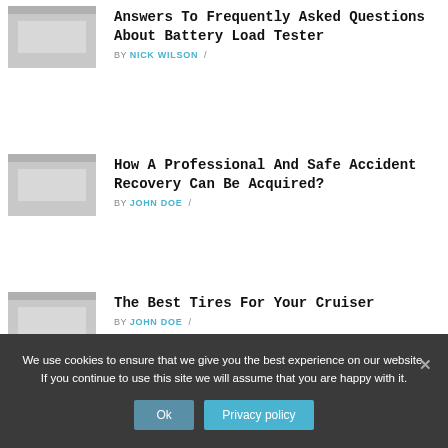[Figure (photo): Small thumbnail image placeholder for first article]
Answers To Frequently Asked Questions About Battery Load Tester
BY NICK WILSON /
[Figure (photo): Small thumbnail image placeholder for second article]
How A Professional And Safe Accident Recovery Can Be Acquired?
BY JOHN DOE /
[Figure (photo): Small thumbnail image placeholder for third article]
The Best Tires For Your Cruiser
BY JOHN DOE /
We use cookies to ensure that we give you the best experience on our website. If you continue to use this site we will assume that you are happy with it.